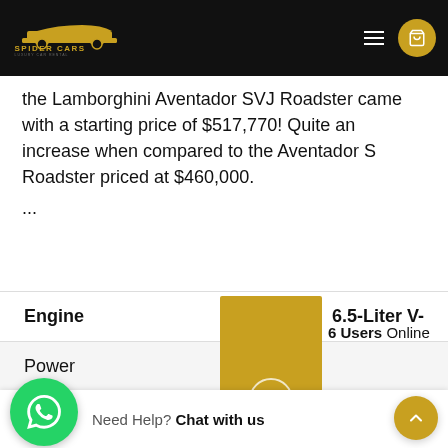Spider Cars – Luxury Car Rental
the Lamborghini Aventador SVJ Roadster came with a starting price of $517,770! Quite an increase when compared to the Aventador S Roadster priced at $460,000.
...
|  |  |
| --- | --- |
| Engine | 6.5-Liter V- |
| Power | 6 Users Online |
|  | 531 LB-FT |
| 0 to 60 mph | 2.9 seconds |